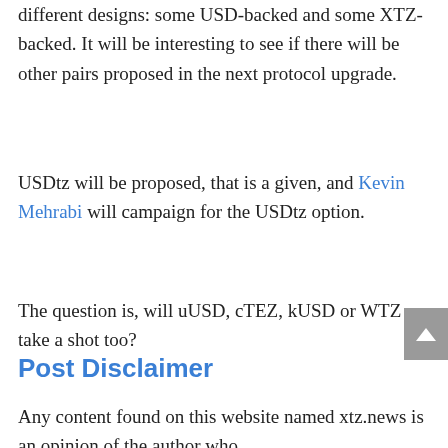different designs: some USD-backed and some XTZ-backed. It will be interesting to see if there will be other pairs proposed in the next protocol upgrade.
USDtz will be proposed, that is a given, and Kevin Mehrabi will campaign for the USDtz option.
The question is, will uUSD, cTEZ, kUSD or WTZ take a shot too?
Post Disclaimer
Any content found on this website named xtz.news is an opinion of the author who